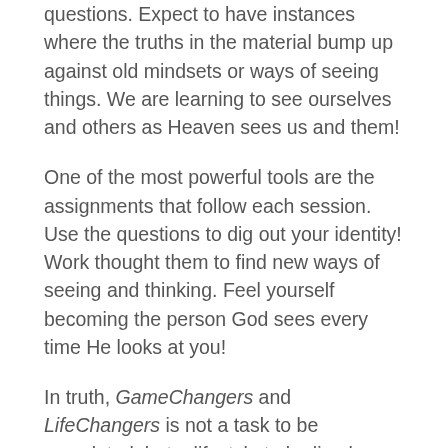questions. Expect to have instances where the truths in the material bump up against old mindsets or ways of seeing things. We are learning to see ourselves and others as Heaven sees us and them!
One of the most powerful tools are the assignments that follow each session. Use the questions to dig out your identity! Work thought them to find new ways of seeing and thinking. Feel yourself becoming the person God sees every time He looks at you!
In truth, GameChangers and LifeChangers is not a task to be completed, but a lifestyle to be lived. Build a relational group to talk through the places you have highlighted or have questions about. You will find that as others are processing their thoughts aloud, you will be learning, too. Form solid friendships built around your God given identity. Be known on earth by your friends as you are known in Heaven.